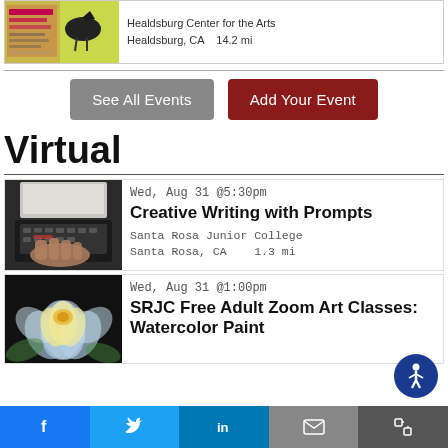[Figure (photo): Event thumbnail showing a bird on a yellow-green background with event text overlay]
Healdsburg Center for the Arts
Healdsburg, CA   14.2 mi
[Figure (other): See All Events button (gray) and Add Your Event button (dark red)]
Virtual
[Figure (photo): Photo of hands typing on a laptop keyboard]
Wed, Aug 31 @5:30pm
Creative Writing with Prompts
Santa Rosa Junior College
Santa Rosa, CA   1.3 mi
[Figure (photo): Photo of a colorful watercolor painted flower (lotus)]
Wed, Aug 31 @1:00pm
SRJC Free Adult Zoom Art Classes: Watercolor Paint
f  [Twitter bird]  in  [envelope]  [expand]